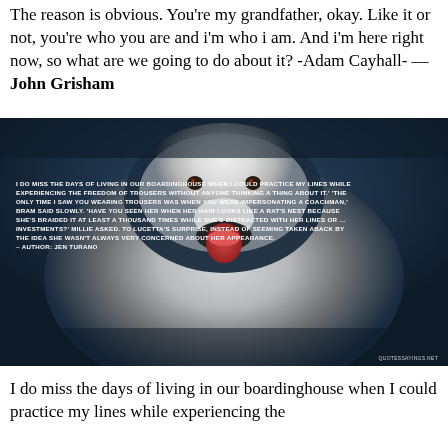The reason is obvious. You're my grandfather, okay. Like it or not, you're who you are and i'm who i am. And i'm here right now, so what are we going to do about it? -Adam Cayhall- — John Grisham
[Figure (photo): Dark-toned photo of a white dog (appears to be a Samoyed or similar breed) with its mouth open and tongue out, against a dark blue background. Overlaid text quote by Jen Turano about missing boardinghouse days, practicing lines while wearing trousers.]
I do miss the days of living in our boardinghouse when I could practice my lines while experiencing the